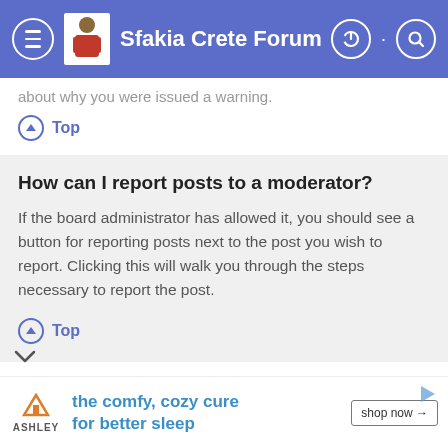Sfakia Crete Forum
about why you were issued a warning.
Top
How can I report posts to a moderator?
If the board administrator has allowed it, you should see a button for reporting posts next to the post you wish to report. Clicking this will walk you through the steps necessary to report the post.
Top
What is the “Save” button for in topic posting?
allows you to save drafts to be completed and
the comfy, cozy cure for better sleep